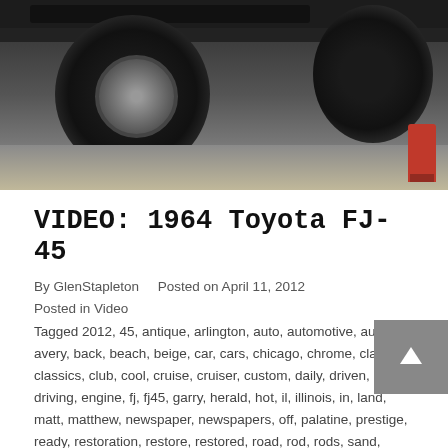[Figure (photo): Undercarriage view of a classic Toyota FJ-45 with large off-road tires visible from below, sitting on a garage floor with a red floor jack visible at right.]
VIDEO: 1964 Toyota FJ-45
By GlenStapleton    Posted on April 11, 2012
Posted in Video
Tagged 2012, 45, antique, arlington, auto, automotive, autos, avery, back, beach, beige, car, cars, chicago, chrome, classic, classics, club, cool, cruise, cruiser, custom, daily, driven, driving, engine, fj, fj45, garry, herald, hot, il, illinois, in, land, matt, matthew, newspaper, newspapers, off, palatine, prestige, ready, restoration, restore, restored, road, rod, rods, sand, scion, show, shows, tan, to, toyota, trail, vintage, white.
When we attended the 'Back to the Beach' car show, we didn't quite